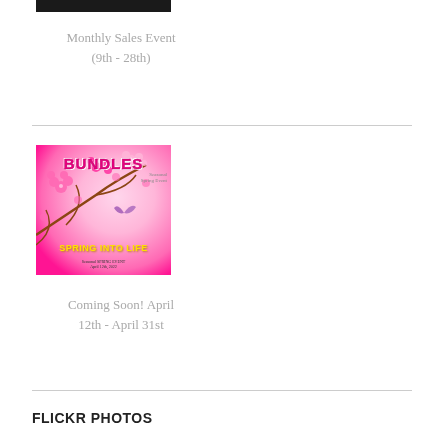[Figure (other): Black rectangle image bar at top]
Monthly Sales Event
(9th - 28th)
[Figure (illustration): BUNDLES Seasonal Spring Event promotional image with cherry blossoms, pink gradient background, text reading SPRING INTO LIFE and Seasonal SPRING EVENT April 12th, 2022]
Coming Soon! April 12th - April 31st
FLICKR PHOTOS